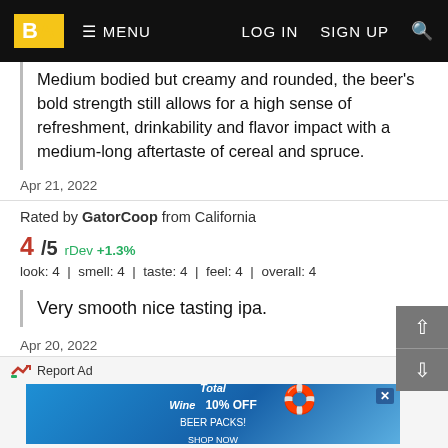BA | MENU | LOG IN | SIGN UP
Medium bodied but creamy and rounded, the beer's bold strength still allows for a high sense of refreshment, drinkability and flavor impact with a medium-long aftertaste of cereal and spruce.
Apr 21, 2022
Rated by GatorCoop from California
4/5 rDev +1.3%
look: 4 | smell: 4 | taste: 4 | feel: 4 | overall: 4
Very smooth nice tasting ipa.
Apr 20, 2022
Rated: 3 by JohnnyForeign from New Jersey
Apr 13, 2022